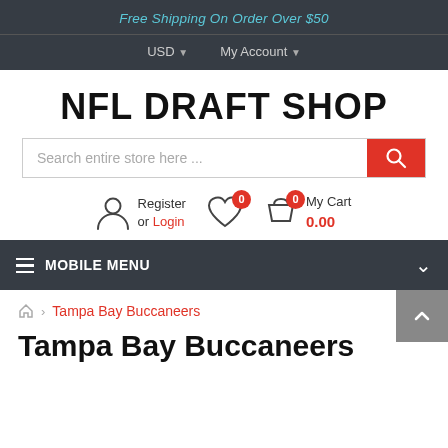Free Shipping On Order Over $50
USD  My Account
NFL DRAFT SHOP
Search entire store here ...
Register or Login
0
My Cart 0.00
MOBILE MENU
Tampa Bay Buccaneers
Tampa Bay Buccaneers